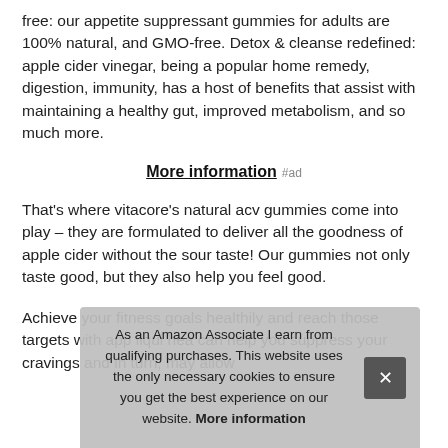free: our appetite suppressant gummies for adults are 100% natural, and GMO-free. Detox & cleanse redefined: apple cider vinegar, being a popular home remedy, digestion, immunity, has a host of benefits that assist with maintaining a healthy gut, improved metabolism, and so much more.
More information #ad
That's where vitacore's natural acv gummies come into play – they are formulated to deliver all the goodness of apple cider without the sour taste! Our gummies not only taste good, but they also help you feel good.
Achieve your fitness goals healthily and reach those targets with app liqui hea can help you suppress your cravings and in turn, may allow
As an Amazon Associate I earn from qualifying purchases. This website uses the only necessary cookies to ensure you get the best experience on our website. More information